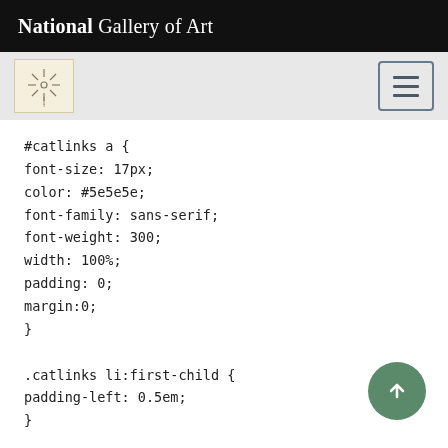National Gallery of Art
[Figure (screenshot): Sub-navigation bar with art icon/logo and hamburger menu button]
#catlinks a {
font-size: 17px;
color: #5e5e5e;
font-family: sans-serif;
font-weight: 300;
width: 100%;
padding: 0;
margin:0;
}

.catlinks li:first-child {
padding-left: 0.5em;
}

#footer ul {
list-style: none;
}